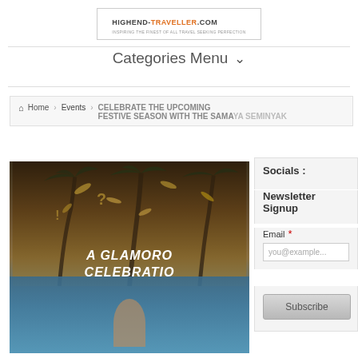HIGHEND-TRAVELLER.COM
Categories Menu ˅
Home › Events › CELEBRATE THE UPCOMING FESTIVE SEASON WITH THE SAMAYA SEMINYAK
Socials :
Newsletter Signup
Email *
you@example...
Subscribe
[Figure (photo): Hotel infinity pool scene at dusk with palm trees, gold confetti/ribbons falling, and text overlay reading 'A GLAMORO... CELEBRATIO...' (A Glamorous Celebration)]